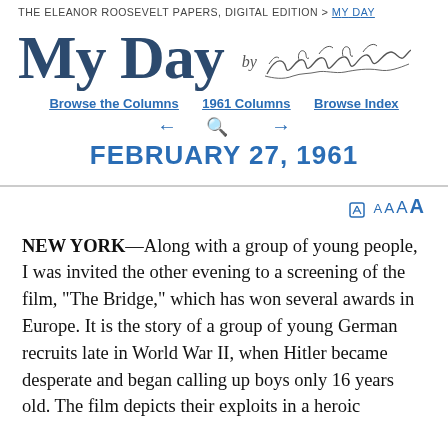The Eleanor Roosevelt Papers, Digital Edition > My Day
My Day by Eleanor Roosevelt
Browse the Columns | 1961 Columns | Browse Index
FEBRUARY 27, 1961
NEW YORK—Along with a group of young people, I was invited the other evening to a screening of the film, "The Bridge," which has won several awards in Europe. It is the story of a group of young German recruits late in World War II, when Hitler became desperate and began calling up boys only 16 years old. The film depicts their exploits in a heroic